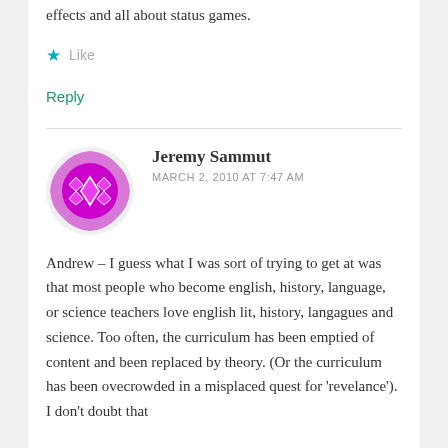effects and all about status games.
Like
Reply
Jeremy Sammut
MARCH 2, 2010 AT 7:47 AM
Andrew – I guess what I was sort of trying to get at was that most people who become english, history, language, or science teachers love english lit, history, langagues and science. Too often, the curriculum has been emptied of content and been replaced by theory. (Or the curriculum has been ovecrowded in a misplaced quest for 'revelance'). I don't doubt that